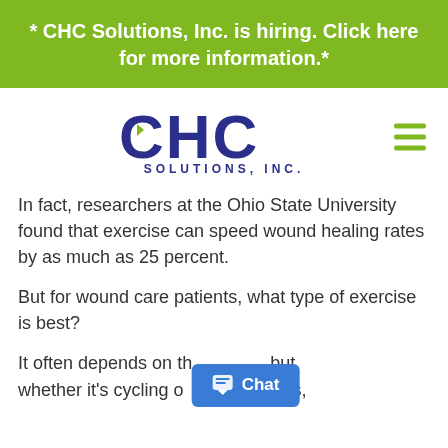* CHC Solutions, Inc. is hiring. Click here for more information.*
[Figure (logo): CHC Solutions, Inc. logo with large blue CHC text and smaller SOLUTIONS, INC. subtitle below]
In fact, researchers at the Ohio State University found that exercise can speed wound healing rates by as much as 25 percent.
But for wound care patients, what type of exercise is best?
It often depends on the wound, but whether it's cycling or lifts,